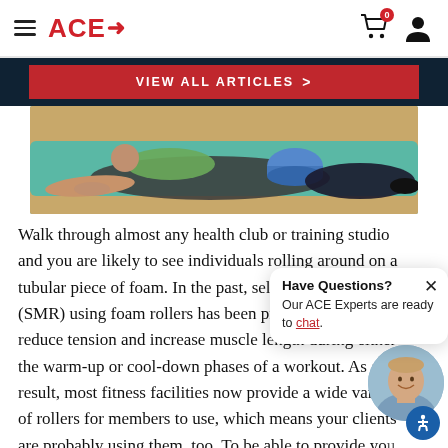ACE→
VIEW ALL ARTICLES >
[Figure (photo): Person using a foam roller on an exercise mat, lying on their side with a blue cylindrical foam roller.]
Walk through almost any health club or training studio and you are likely to see individuals rolling around on a tubular piece of foam. In the past, self-myofascial release (SMR) using foam rollers has been promoted as a way to reduce tension and increase muscle length during either the warm-up or cool-down phases of a workout. As a result, most fitness facilities now provide a wide variety of rollers for members to use, which means your clients are probably using them, too. To be able to provide yo
Have Questions?
Our ACE Experts are ready to chat.